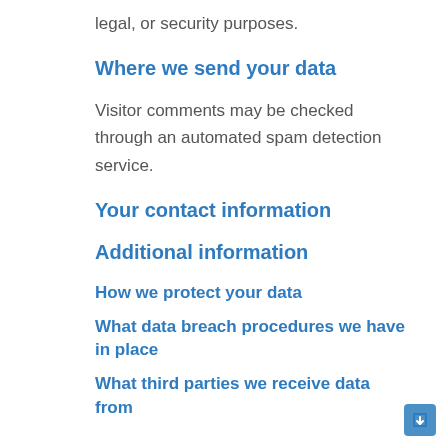legal, or security purposes.
Where we send your data
Visitor comments may be checked through an automated spam detection service.
Your contact information
Additional information
How we protect your data
What data breach procedures we have in place
What third parties we receive data from